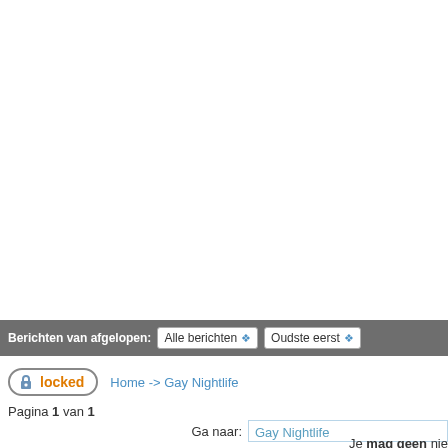[Figure (screenshot): Toolbar with dark grey background showing 'Berichten van afgelopen:' label followed by two dropdowns: 'Alle berichten' and 'Oudste eerst']
[Figure (screenshot): Locked button with padlock icon and orange 'locked' text, followed by breadcrumb navigation: Home -> Gay Nightlife]
Pagina 1 van 1
Ga naar: Gay Nightlife
Je mag geen nie